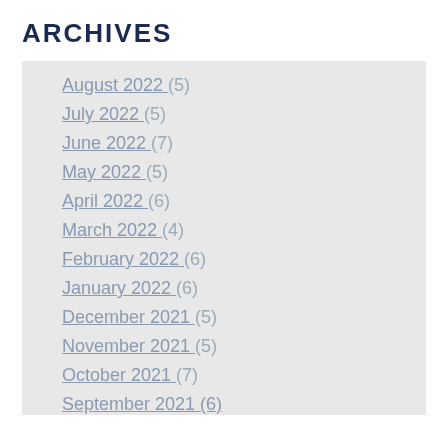ARCHIVES
August 2022 (5)
July 2022 (5)
June 2022 (7)
May 2022 (5)
April 2022 (6)
March 2022 (4)
February 2022 (6)
January 2022 (6)
December 2021 (5)
November 2021 (5)
October 2021 (7)
September 2021 (6)